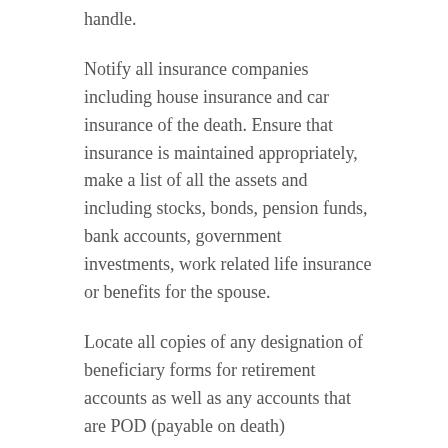handle.
Notify all insurance companies including house insurance and car insurance of the death. Ensure that insurance is maintained appropriately, make a list of all the assets and including stocks, bonds, pension funds, bank accounts, government investments, work related life insurance or benefits for the spouse.
Locate all copies of any designation of beneficiary forms for retirement accounts as well as any accounts that are POD (payable on death)
Determine any interests in entities and obtain shareholder and partnership agreements. Specific options may be time sensitive and must be adhered to accordingly.